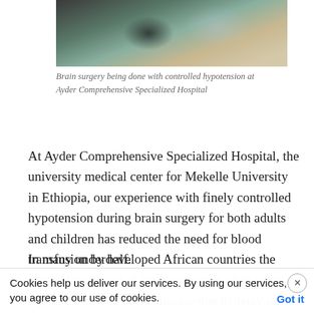[Figure (photo): Brain surgery being performed in an operating room at Ayder Comprehensive Specialized Hospital, showing medical staff and equipment.]
Brain surgery being done with controlled hypotension at Ayder Comprehensive Specialized Hospital
At Ayder Comprehensive Specialized Hospital, the university medical center for Mekelle University in Ethiopia, our experience with finely controlled hypotension during brain surgery for both adults and children has reduced the need for blood transfusion by half.
In many underdeveloped African countries the surgical treatment of brain tumors is often very late in the course of the disease due to delay in the patient seeking treatment. Jamis...
Cookies help us deliver our services. By using our services, you agree to our use of cookies. Got it